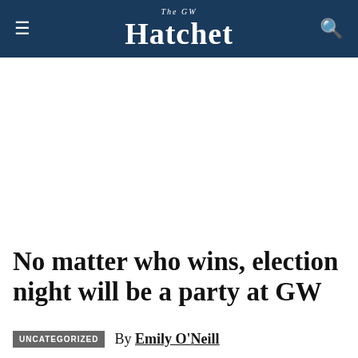The GW Hatchet
No matter who wins, election night will be a party at GW
By Emily O'Neill